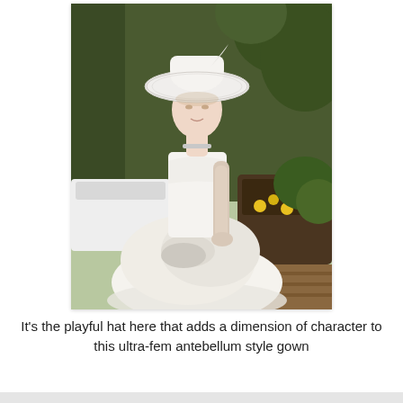[Figure (photo): A woman in a white strapless antebellum-style wedding gown with a ruffled tiered skirt, long white gloves, choker necklace, and a large wide-brimmed white hat with wire brim detail. She poses outdoors in a garden setting with greenery and yellow flowers in the background, and white outdoor furniture behind her.]
It's the playful hat here that adds a dimension of character to this ultra-fem antebellum style gown